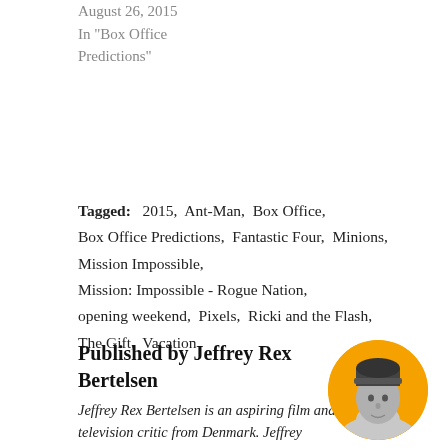August 26, 2015
In "Box Office Predictions"
Tagged:   2015,  Ant-Man,  Box Office,  Box Office Predictions,  Fantastic Four,  Minions,  Mission Impossible,  Mission: Impossible - Rogue Nation,  opening weekend,  Pixels,  Ricki and the Flash,  The Gift,  Vacation
Published by Jeffrey Rex Bertelsen
Jeffrey Rex Bertelsen is an aspiring film and television critic from Denmark. Jeffrey graduated
[Figure (photo): Circular profile photo of Jeffrey Rex Bertelsen against an orange background, wearing a dark beanie hat]